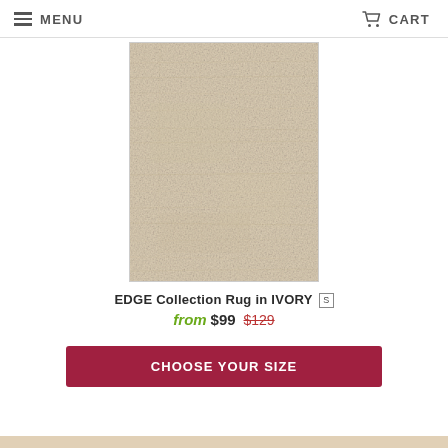MENU  CART
[Figure (photo): Product photo of EDGE Collection Rug in Ivory — a rectangular rug with a beige/cream textured woven surface shown against white background]
EDGE Collection Rug in IVORY [S]
from $99 $129
CHOOSE YOUR SIZE